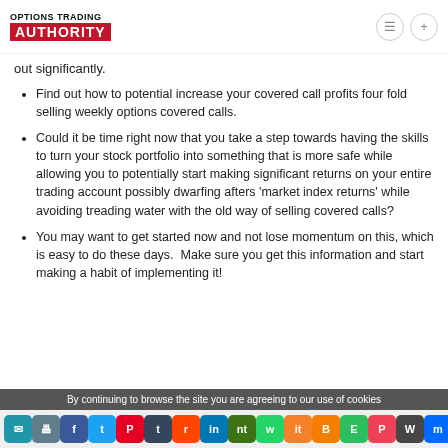OPTIONS TRADING AUTHORITY
out significantly.
Find out how to potential increase your covered call profits four fold selling weekly options covered calls.
Could it be time right now that you take a step towards having the skills to turn your stock portfolio into something that is more safe while allowing you to potentially start making significant returns on your entire trading account possibly dwarfing afters ‘market index returns’ while avoiding treading water with the old way of selling covered calls?
You may want to get started now and not lose momentum on this, which is easy to do these days.  Make sure you get this information and start making a habit of implementing it!
By continuing to browse the site you are agreeing to our use of cookies